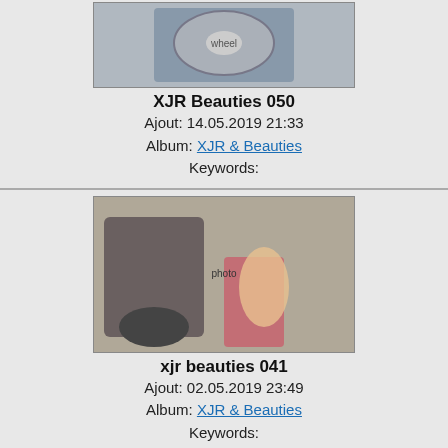[Figure (photo): Motorcycle wheel/chain close-up photo (color)]
XJR Beauties 050
Ajout: 14.05.2019 21:33
Album: XJR & Beauties
Keywords:
[Figure (photo): Woman posing on/near a motorcycle outdoors (color)]
xjr beauties 041
Ajout: 02.05.2019 23:49
Album: XJR & Beauties
Keywords:
[Figure (photo): Black and white photo of a woman near a motorcycle]